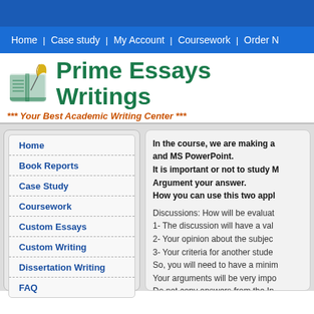Home | Case study | My Account | Coursework | Order N
Prime Essays Writings
*** Your Best Academic Writing Center ***
Home
Book Reports
Case Study
Coursework
Custom Essays
Custom Writing
Dissertation Writing
FAQ
In the course, we are making a and MS PowerPoint.
It is important or not to study M
Argument your answer.
How you can use this two appl
Discussions: How will be evaluat
1- The discussion will have a val
2- Your opinion about the subjec
3- Your criteria for another stude
So, you will need to have a minim
Your arguments will be very impo
Do not copy answers from the In
The answers should h...